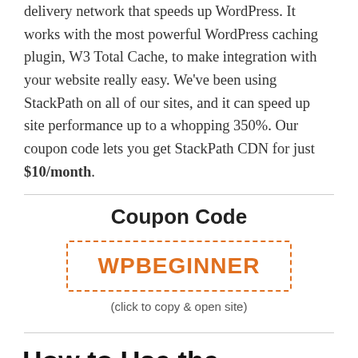delivery network that speeds up WordPress. It works with the most powerful WordPress caching plugin, W3 Total Cache, to make integration with your website really easy. We've been using StackPath on all of our sites, and it can speed up site performance up to a whopping 350%. Our coupon code lets you get StackPath CDN for just $10/month.
Coupon Code
[Figure (other): Orange dashed-border rectangle containing the coupon code text WPBEGINNER in bold orange font]
(click to copy & open site)
How to Use the StackPath Coupon Code?